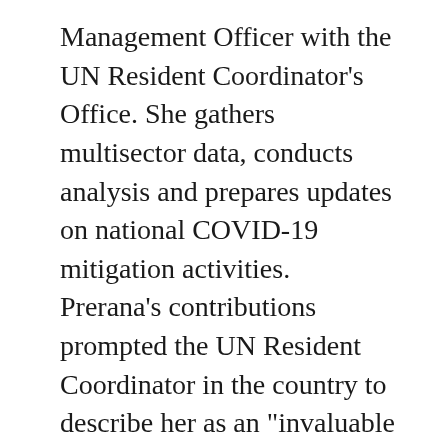Management Officer with the UN Resident Coordinator's Office. She gathers multisector data, conducts analysis and prepares updates on national COVID-19 mitigation activities. Prerana's contributions prompted the UN Resident Coordinator in the country to describe her as an "invaluable asset".
In Lebanon, another Information Management Officer, national UN Volunteer Malek al Jebaie, serves in support of UNDP's Disaster Risk Management Unit. Malek synthesized data harvested from partners to generate online dashboards that illustrate the flow